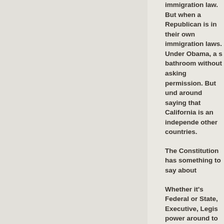immigration law. But when a Republican is in their own immigration laws. Under Obama, a s bathroom without asking permission. But und around saying that California is an independe other countries.
The Constitution has something to say about
Whether it's Federal or State, Executive, Legis power around to run the country. If it controls is suddenly the supreme power in the land. Th dictatorship.
Donald Trump has caused the Shadow Gover Professional government is a guild. Like med you're not a member. If you haven't been indo you aren't in the club. And Trump isn't in the e people who aren't in the club with him.